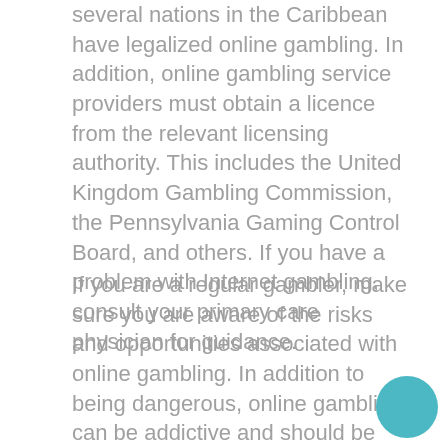several nations in the Caribbean have legalized online gambling. In addition, online gambling service providers must obtain a licence from the relevant licensing authority. This includes the United Kingdom Gambling Commission, the Pennsylvania Gaming Control Board, and others. If you have a problem with Internet gambling, consult your primary care physician for guidance.
If you are a regular gambler, make sure you are aware of the risks and opportunities associated with online gambling. In addition to being dangerous, online gambling can be addictive and should be avoided at all costs. If you are interested in participating in an online gambling site, be sure to contact your primary care physician. The advice you receive from a qualified professional will help you make the right decision. It will also be possible to find support for your addiction.